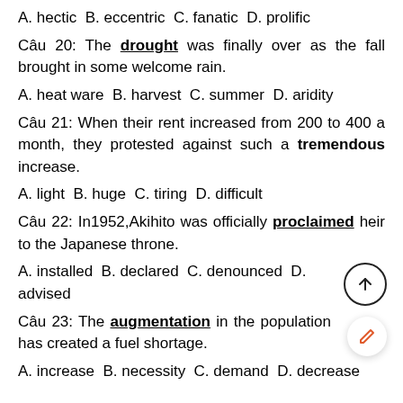A. hectic  B. eccentric  C. fanatic  D. prolific
Câu 20: The drought was finally over as the fall brought in some welcome rain.
A. heat ware  B. harvest  C. summer  D. aridity
Câu 21: When their rent increased from 200 to 400 a month, they protested against such a tremendous increase.
A. light  B. huge  C. tiring  D. difficult
Câu 22: In1952,Akihito was officially proclaimed heir to the Japanese throne.
A. installed  B. declared  C. denounced  D. advised
Câu 23: The augmentation in the population has created a fuel shortage.
A. increase  B. necessity  C. demand  D. decrease